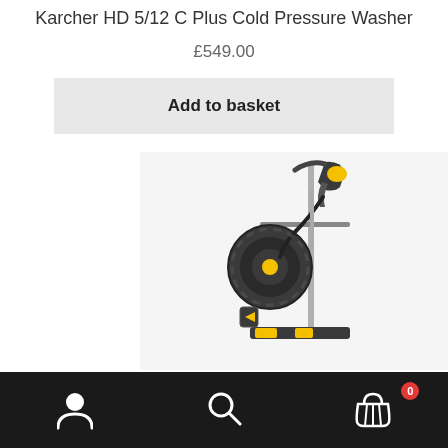Karcher HD 5/12 C Plus Cold Pressure Washer
£549.00
Add to basket
[Figure (photo): Karcher HD 5/12 C Plus Cold Pressure Washer product photo showing a dark grey and yellow pressure washer with a hose reel, spray gun, and lance on a white background]
Account | Search | Basket (0)